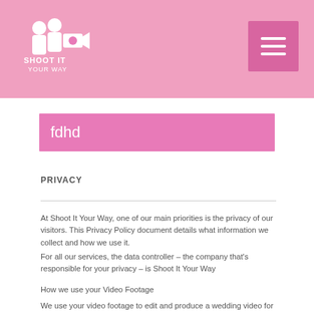Shoot It Your Way – navigation header
fdhd
PRIVACY
At Shoot It Your Way, one of our main priorities is the privacy of our visitors. This Privacy Policy document details what information we collect and how we use it.
For all our services, the data controller – the company that's responsible for your privacy – is Shoot It Your Way
How we use your Video Footage
We use your video footage to edit and produce a wedding video for you, this forms the basis of our contract with